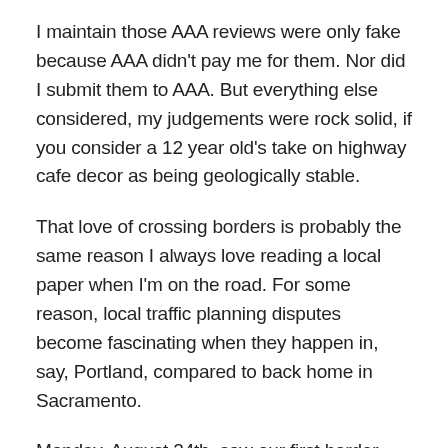I maintain those AAA reviews were only fake because AAA didn't pay me for them. Nor did I submit them to AAA. But everything else considered, my judgements were rock solid, if you consider a 12 year old's take on highway cafe decor as being geologically stable.
That love of crossing borders is probably the same reason I always love reading a local paper when I'm on the road. For some reason, local traffic planning disputes become fascinating when they happen in, say, Portland, compared to back home in Sacramento.
Monday, August 24th, saw our first border crossing with the new travel trailer, as we followed Highway 101 across the Oregon border.